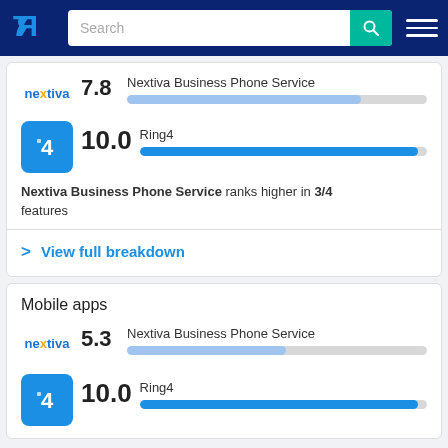TrustRadius – Search bar and navigation
7.8 Nextiva Business Phone Service
10.0 Ring4
Nextiva Business Phone Service ranks higher in 3/4 features
> View full breakdown
Mobile apps
5.3 Nextiva Business Phone Service
10.0 Ring4